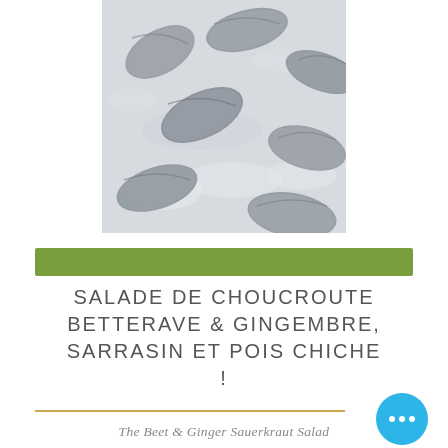[Figure (photo): Close-up photograph of multiple grey/dusty dumplings or pierogies dusted with flour, arranged on a white floured surface.]
SALADE DE CHOUCROUTE BETTERAVE & GINGEMBRE, SARRASIN ET POIS CHICHE !
The Beet & Ginger Sauerkraut Salad